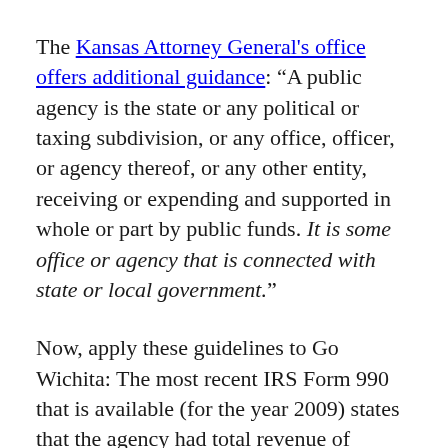The Kansas Attorney General's office offers additional guidance: “A public agency is the state or any political or taxing subdivision, or any office, officer, or agency thereof, or any other entity, receiving or expending and supported in whole or part by public funds. It is some office or agency that is connected with state or local government.”
Now, apply these guidelines to Go Wichita: The most recent IRS Form 990 that is available (for the year 2009) states that the agency had total revenue of $2,651,600, $2,266,300 coming from “fees from government agencies.” This is government,